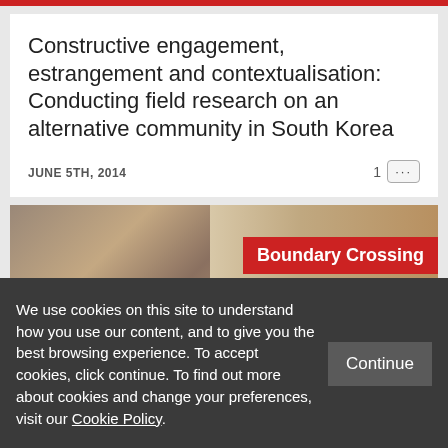Constructive engagement, estrangement and contextualisation: Conducting field research on an alternative community in South Korea
JUNE 5TH, 2014
[Figure (photo): Photo collage showing children in a classroom or activity setting on the left, and a text/document page on the right, with a red 'Boundary Crossing' badge overlaid on the right portion]
We use cookies on this site to understand how you use our content, and to give you the best browsing experience. To accept cookies, click continue. To find out more about cookies and change your preferences, visit our Cookie Policy.